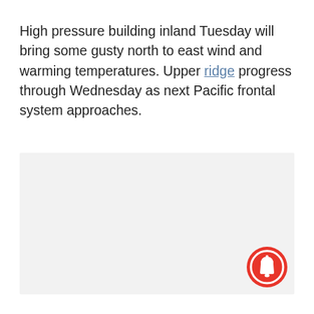High pressure building inland Tuesday will bring some gusty north to east wind and warming temperatures. Upper ridge progress through Wednesday as next Pacific frontal system approaches.
[Figure (other): Gray placeholder content box with a red notification bell button in the bottom-right corner]